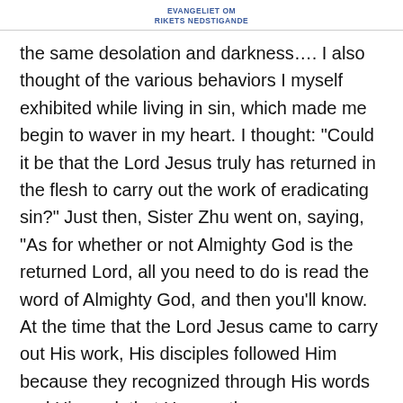EVANGELIET OM
RIKETS NEDSTIGANDE
the same desolation and darkness…. I also thought of the various behaviors I myself exhibited while living in sin, which made me begin to waver in my heart. I thought: “Could it be that the Lord Jesus truly has returned in the flesh to carry out the work of eradicating sin?” Just then, Sister Zhu went on, saying, “As for whether or not Almighty God is the returned Lord, all you need to do is read the word of Almighty God, and then you’ll know. At the time that the Lord Jesus came to carry out His work, His disciples followed Him because they recognized through His words and His work that He was the